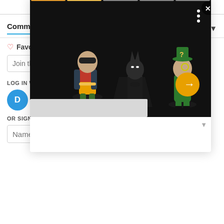Comments  Community  Login
♡ Favorite
Join the discu...
LOG IN WITH
OR SIGN UP WITH DI...
Name
[Figure (photo): Popup showing three chibi/mini DC Comics figurines: Robin, Batman, and The Riddler on dark background, with progress bar, close (X) button, and orange arrow navigation button]
ChrisLikesBatman
3 years ago edited
Ehhh. Not a terrible episode, but that Batsuit looked just as bad as it did in the leaked photos. View...